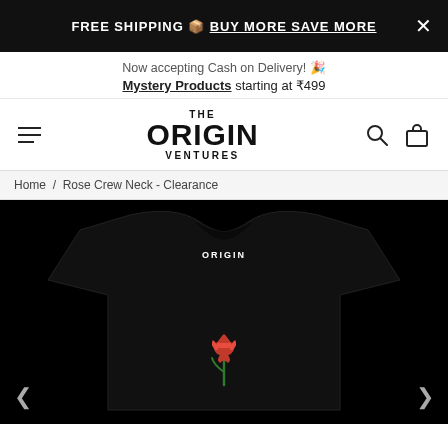FREE SHIPPING 🚚 BUY MORE SAVE MORE  ×
Now accepting Cash on Delivery! 🎉
Mystery Products starting at ₹499
[Figure (logo): THE ORIGIN VENTURES logo in bold black letters]
Home / Rose Crew Neck - Clearance
[Figure (photo): Black crew neck t-shirt with ORIGIN text on collar and small red rose embroidery on front chest, on a black background]